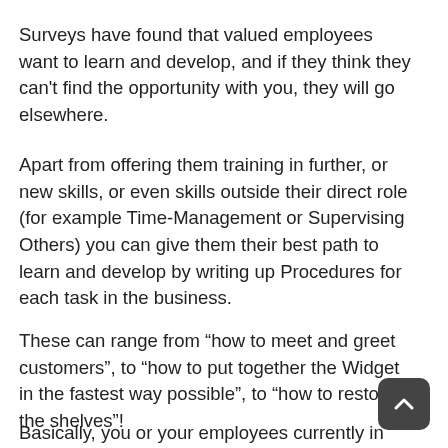Surveys have found that valued employees want to learn and develop, and if they think they can't find the opportunity with you, they will go elsewhere.
Apart from offering them training in further, or new skills, or even skills outside their direct role (for example Time-Management or Supervising Others) you can give them their best path to learn and develop by writing up Procedures for each task in the business.
These can range from “how to meet and greet customers”, to “how to put together the Widget in the fastest way possible”, to “how to restock the shelves”!
Basically, you or your employees currently in those positions would have found the